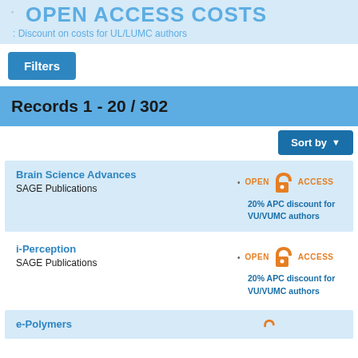OPEN ACCESS COSTS
: Discount on costs for UL/LUMC authors
Filters
Records 1 - 20 / 302
Sort by
Brain Science Advances
SAGE Publications
20% APC discount for VU/VUMC authors
i-Perception
SAGE Publications
20% APC discount for VU/VUMC authors
e-Polymers